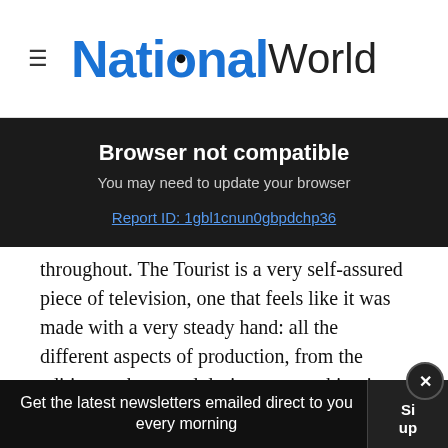NationalWorld
Browser not compatible
You may need to update your browser
Report ID: 1gbl1cnun0gbpdchp36
throughout. The Tourist is a very self-assured piece of television, one that feels like it was made with a very steady hand: all the different aspects of production, from the editing to the sound design, are working in tandem. It’s very much the sort of series that needs that sense of careful control – had any one aspect of The Tourist been out of step
Get the latest newsletters emailed direct to you every morning   Sign up